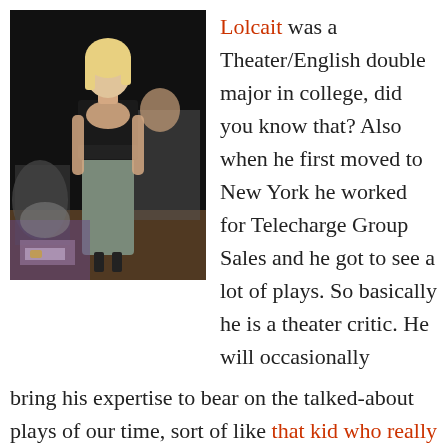[Figure (photo): A blonde woman in a black and grey dress standing at what appears to be a fashion event, with people seated behind her.]
Lolcait was a Theater/English double major in college, did you know that? Also when he first moved to New York he worked for Telecharge Group Sales and he got to see a lot of plays. So basically he is a theater critic. He will occasionally bring his expertise to bear on the talked-about plays of our time, sort of like that kid who really liked 'Young Frankenstein.' First up: Claire "Crumple Face Cry" Danes' Broadway debut in Pygmalion!